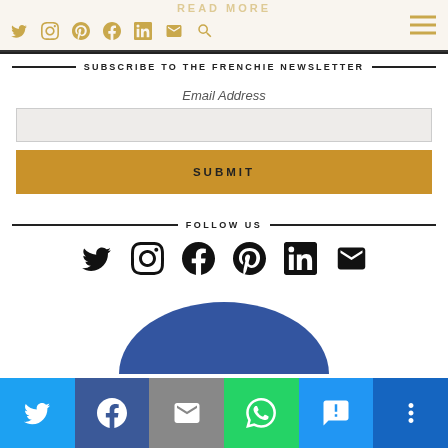READ MORE — navigation with social icons and hamburger menu
SUBSCRIBE TO THE FRENCHIE NEWSLETTER
Email Address
SUBMIT
FOLLOW US
[Figure (infographic): Row of six social media follow icons: Twitter, Instagram, Facebook, Pinterest, LinkedIn, Email]
[Figure (infographic): Blue dome/arch shape at bottom of page, partially visible]
Share bar with: Twitter, Facebook, Email, WhatsApp, SMS, More